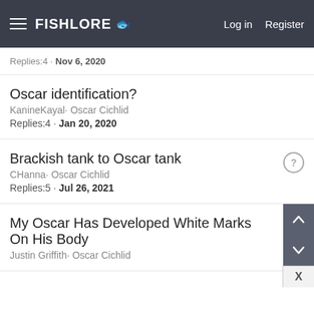FishLore | Log in | Register
Replies:4 · Nov 6, 2020
Oscar identification?
KanineKayal· Oscar Cichlid
Replies:4 · Jan 20, 2020
Brackish tank to Oscar tank
CHanna· Oscar Cichlid
Replies:5 · Jul 26, 2021
My Oscar Has Developed White Marks On His Body
Justin Griffith· Oscar Cichlid